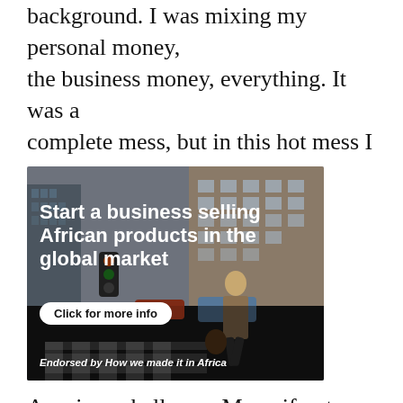background. I was mixing my personal money, the business money, everything. It was a complete mess, but in this hot mess I was learning.”
[Figure (illustration): Advertisement banner showing a businessman crossing a city street with tall buildings in background. Text overlay reads: Start a business selling African products in the global market. Button: Click for more info. Endorsed by How we made it in Africa.]
A serious challenge. Many if not done these...